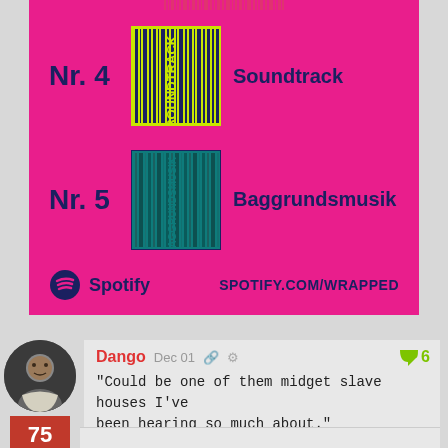[Figure (screenshot): Spotify Wrapped card on pink background showing Nr. 4 Soundtrack and Nr. 5 Baggrundsmusik genre categories with album art, Spotify logo and SPOTIFY.COM/WRAPPED URL]
Dango   Dec 01
"Could be one of them midget slave houses I've been hearing so much about."